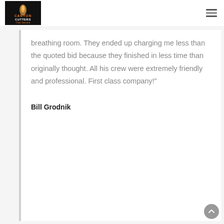Canyon Cutters Tree Service — navigation header
breathing room. They ended up charging me less than the quoted bid because they finished in less time than originally thought. All his crew were extremely friendly and professional. First class company!"
Bill Grodnik